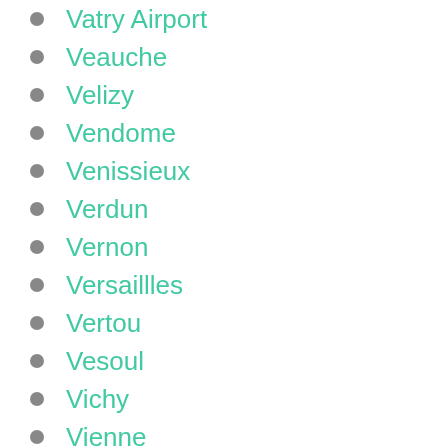Vatry Airport
Veauche
Velizy
Vendome
Venissieux
Verdun
Vernon
Versaillles
Vertou
Vesoul
Vichy
Vienne
Vierzon
Villefranche de Lauragais
Villefranche sur Saone
Villeneuve d Ascq
Villeneuve Sur Lot